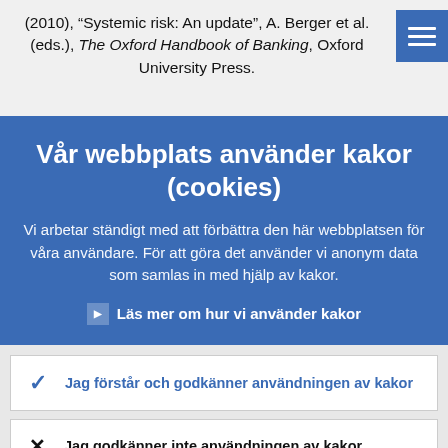(2010), “Systemic risk: An update”, A. Berger et al. (eds.), The Oxford Handbook of Banking, Oxford University Press.
Vår webbplats använder kakor (cookies)
Vi arbetar ständigt med att förbättra den här webbplatsen för våra användare. För att göra det använder vi anonym data som samlas in med hjälp av kakor.
Läs mer om hur vi använder kakor
Jag förstår och godkänner användningen av kakor
Jag godkänner inte användningen av kakor